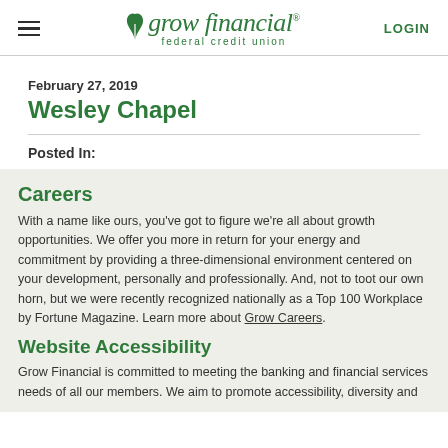grow financial federal credit union | LOGIN
February 27, 2019
Wesley Chapel
Posted In:
Careers
With a name like ours, you've got to figure we're all about growth opportunities. We offer you more in return for your energy and commitment by providing a three-dimensional environment centered on your development, personally and professionally. And, not to toot our own horn, but we were recently recognized nationally as a Top 100 Workplace by Fortune Magazine. Learn more about Grow Careers.
Website Accessibility
Grow Financial is committed to meeting the banking and financial services needs of all our members. We aim to promote accessibility, diversity and